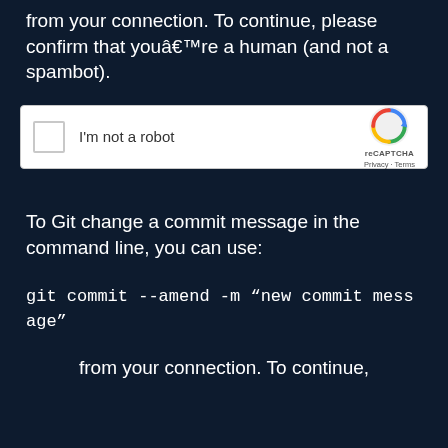from your connection. To continue, please confirm that youâ€™re a human (and not a spambot).
[Figure (screenshot): reCAPTCHA widget showing a checkbox labeled 'I'm not a robot' with the reCAPTCHA logo, Privacy and Terms links on the right side.]
To Git change a commit message in the command line, you can use:
from your connection. To continue,